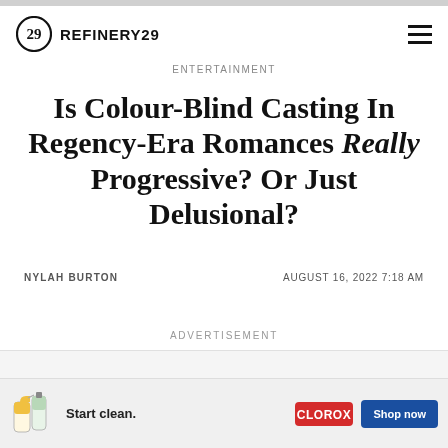REFINERY29
ENTERTAINMENT
Is Colour-Blind Casting In Regency-Era Romances Really Progressive? Or Just Delusional?
NYLAH BURTON   AUGUST 16, 2022 7:18 AM
ADVERTISEMENT
[Figure (other): Advertisement banner for Clorox cleaning products showing spray bottles, 'Start clean.' tagline, Clorox logo, and 'Shop now' button]